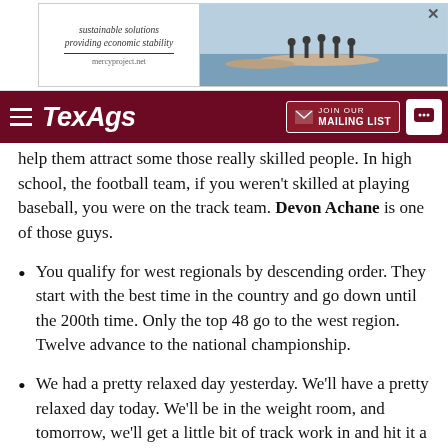[Figure (other): Advertisement banner with text 'sustainable solutions providing economic stability mercyproject.net' on the left and a photo of people with boats on water on the right, with an X close button]
TexAgs — JOIN OUR MAILING LIST
help them attract some those really skilled people. In high school, the football team, if you weren't skilled at playing baseball, you were on the track team. Devon Achane is one of those guys.
You qualify for west regionals by descending order. They start with the best time in the country and go down until the 200th time. Only the top 48 go to the west region. Twelve advance to the national championship.
We had a pretty relaxed day yesterday. We'll have a pretty relaxed day today. We'll be in the weight room, and tomorrow, we'll get a little bit of track work in and hit it a little bit harder on Thursday. We'll go through Saturday's training session. Then Sunday and beyond the next is in Achane. He's just